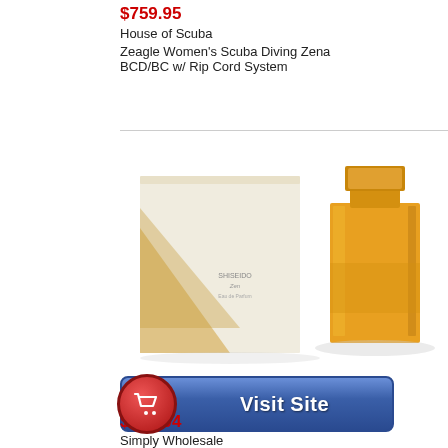$759.95
House of Scuba
Zeagle Women's Scuba Diving Zena BCD/BC w/ Rip Cord System
[Figure (photo): Product photo of Shiseido Zen perfume bottle (amber/gold) with white and gold box packaging]
[Figure (other): Visit Site button with red shopping cart circle icon on blue gradient button]
$168.94
Simply Wholesale
100 Ml Zen Perfume By Shiseido For